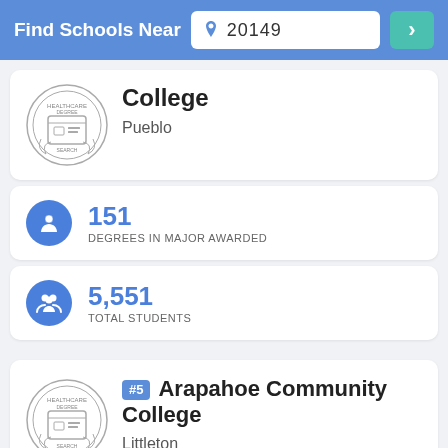Find Schools Near 20149
[Figure (logo): Healthcare Degree Search seal/logo circular badge]
College
Pueblo
151 DEGREES IN MAJOR AWARDED
5,551 TOTAL STUDENTS
[Figure (logo): Healthcare Degree Search seal/logo circular badge]
#5 Arapahoe Community College
Littleton